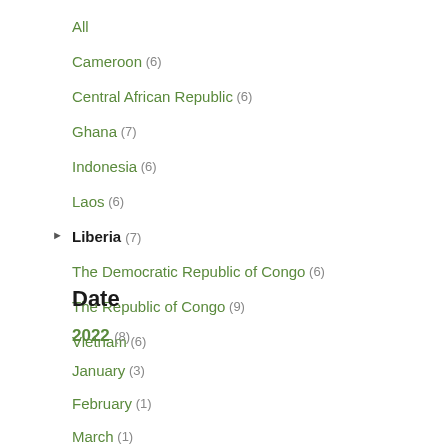All
Cameroon (6)
Central African Republic (6)
Ghana (7)
Indonesia (6)
Laos (6)
Liberia (7)
The Democratic Republic of Congo (6)
The Republic of Congo (9)
Vietnam (6)
Date
2022 (8)
January (3)
February (1)
March (1)
April (1)
June (1)